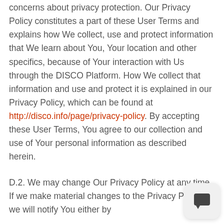concerns about privacy protection. Our Privacy Policy constitutes a part of these User Terms and explains how We collect, use and protect information that We learn about You, Your location and other specifics, because of Your interaction with Us through the DISCO Platform. How We collect that information and use and protect it is explained in our Privacy Policy, which can be found at http://disco.info/page/privacy-policy. By accepting these User Terms, You agree to our collection and use of Your personal information as described herein.
D.2. We may change Our Privacy Policy at any time. If we make material changes to the Privacy Policy, we will notify You either by